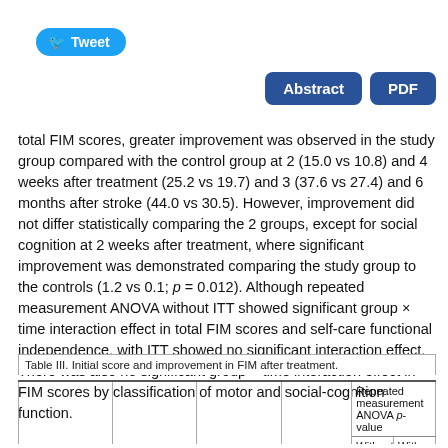Tweet
Abstract  PDF
total FIM scores, greater improvement was observed in the study group compared with the control group at 2 (15.0 vs 10.8) and 4 weeks after treatment (25.2 vs 19.7) and 3 (37.6 vs 27.4) and 6 months after stroke (44.0 vs 30.5). However, improvement did not differ statistically comparing the 2 groups, except for social cognition at 2 weeks after treatment, where significant improvement was demonstrated comparing the study group to the controls (1.2 vs 0.1; p = 0.012). Although repeated measurement ANOVA without ITT showed significant group × time interaction effect in total FIM scores and self-care functional independence, with ITT showed no significant interaction effect. There was also no significant group × time interaction effect in FIM scores by classification of motor and social-cognition function.
Table III. Initial score and improvement in FIM after treatment.
| Time point | Study group mean (SD) | Control group mean (SD) | p-value | Repeated measurement ANOVA p-value Without ITT analysis | Repeated measurement ANOVA p-value With ITT analysis |
| --- | --- | --- | --- | --- | --- |